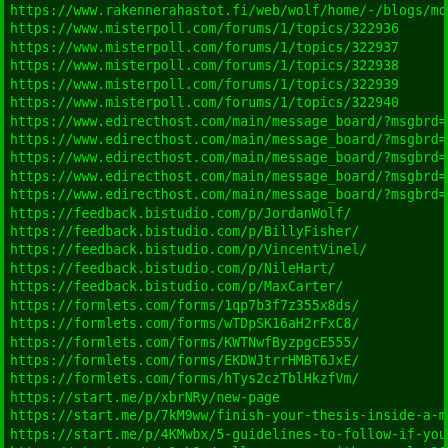https://www.rakennerahastot.fi/web/wolf/home/-/blogs/most-i
https://www.misterpoll.com/forums/1/topics/322936
https://www.misterpoll.com/forums/1/topics/322937
https://www.misterpoll.com/forums/1/topics/322938
https://www.misterpoll.com/forums/1/topics/322939
https://www.misterpoll.com/forums/1/topics/322940
https://www.edirecthost.com/main/message_board/?msgbrd=9&to
https://www.edirecthost.com/main/message_board/?msgbrd=9&to
https://www.edirecthost.com/main/message_board/?msgbrd=9&to
https://www.edirecthost.com/main/message_board/?msgbrd=9&to
https://www.edirecthost.com/main/message_board/?msgbrd=9&to
https://feedback.bistudio.com/p/JordanWolf/
https://feedback.bistudio.com/p/BillyFisher/
https://feedback.bistudio.com/p/VincentVinel/
https://feedback.bistudio.com/p/NileHart/
https://feedback.bistudio.com/p/MaxCarter/
https://formlets.com/forms/1qp7b3f7z355x8ds/
https://formlets.com/forms/wTDpSK16aH2rFxC8/
https://formlets.com/forms/KWTNwfByzpgcE555/
https://formlets.com/forms/EKDWJtrrHMBT6JxE/
https://formlets.com/forms/hTys2czTblHkzfVm/
https://start.me/p/xbrNRy/new-page
https://start.me/p/7kM9ww/finish-your-thesis-inside-a-month
https://start.me/p/4KMwbx/5-guidelines-to-follow-if-you-wan
https://start.me/p/p1eLQe/college-essay-with-example-2021-g
https://start.me/p/rxBNPx/how-to-write-a-research-paper-fro
https://ecotourism.org/society/jordanwolf/activity/11715/
https://ecotourism.org/society/jordanwolf/activity/11717/
https://ecotourism.org/society/jordanwolf/activity/11718/